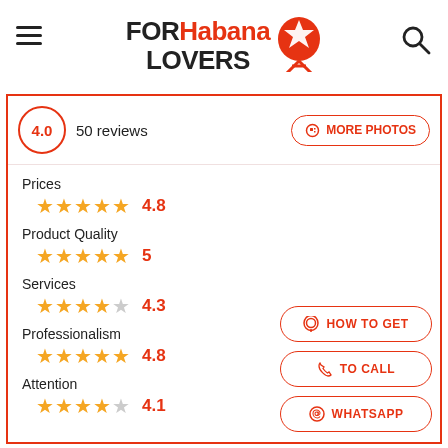FOR Habana LOVERS
4.0  50 reviews
MORE PHOTOS
Prices
4.8
Product Quality
5
Services
4.3
Professionalism
4.8
Attention
4.1
HOW TO GET
TO CALL
WHATSAPP